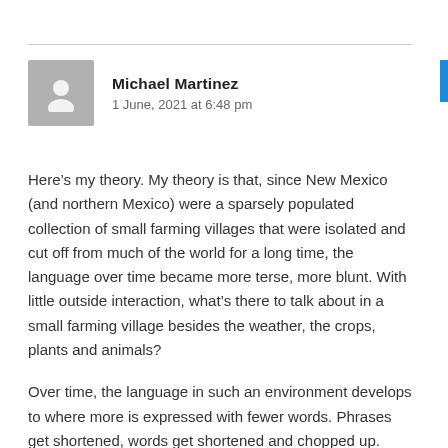Michael Martinez
1 June, 2021 at 6:48 pm
Here’s my theory. My theory is that, since New Mexico (and northern Mexico) were a sparsely populated collection of small farming villages that were isolated and cut off from much of the world for a long time, the language over time became more terse, more blunt. With little outside interaction, what’s there to talk about in a small farming village besides the weather, the crops, plants and animals?
Over time, the language in such an environment develops to where more is expressed with fewer words. Phrases get shortened, words get shortened and chopped up. With a minimal of outside influences, there’s no need to talk about